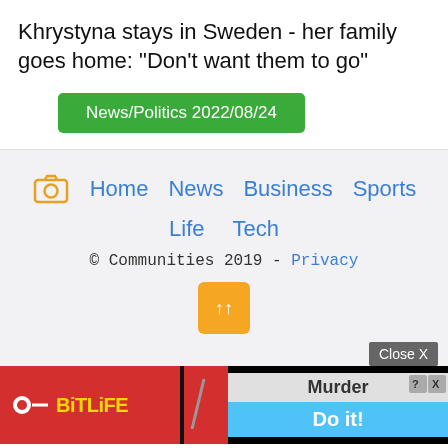Khrystyna stays in Sweden - her family goes home: "Don't want them to go"
News/Politics 2022/08/24
Home  News  Business  Sports  Life  Tech  © Communities 2019 - Privacy
[Figure (screenshot): BitLife advertisement banner with 'Murder - Do it!' text]